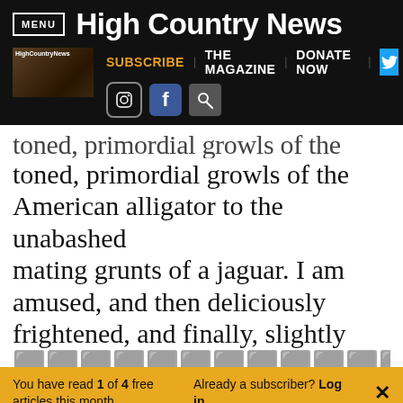MENU | High Country News
SUBSCRIBE | THE MAGAZINE | DONATE NOW
toned, primordial growls of the American alligator to the unabashed mating grunts of a jaguar. I am amused, and then deliciously frightened, and finally, slightly
You have read 1 of 4 free articles this month. Already a subscriber? Log in.
Support independent journalism.
Subscribe